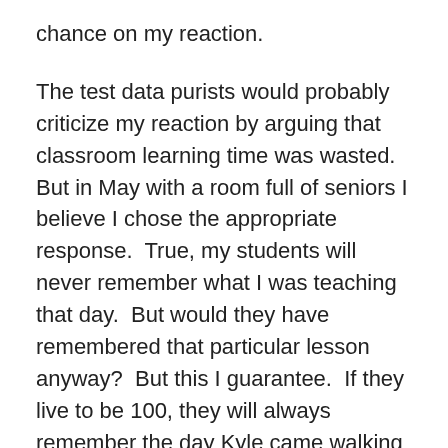chance on my reaction.
The test data purists would probably criticize my reaction by arguing that classroom learning time was wasted.  But in May with a room full of seniors I believe I chose the appropriate response.  True, my students will never remember what I was teaching that day.  But would they have remembered that particular lesson anyway?  But this I guarantee.  If they live to be 100, they will always remember the day Kyle came walking into my classroom in the middle of the class eating a hamburger and had the audacity to give the teacher some hot fries. They will also remember me eating those fries.
That day we made a lifetime memory.  You've gotta' enjoy the fun… spontaneously.  Humor always comes from an unexpected twist.